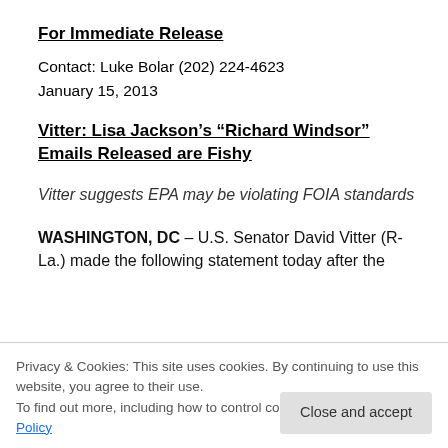For Immediate Release
Contact: Luke Bolar (202) 224-4623
January 15, 2013
Vitter: Lisa Jackson's “Richard Windsor” Emails Released are Fishy
Vitter suggests EPA may be violating FOIA standards
WASHINGTON, DC – U.S. Senator David Vitter (R-La.) made the following statement today after the
Windsor.” The EPA has also redacted names in the
Privacy & Cookies: This site uses cookies. By continuing to use this website, you agree to their use.
To find out more, including how to control cookies, see here: Cookie Policy
Close and accept